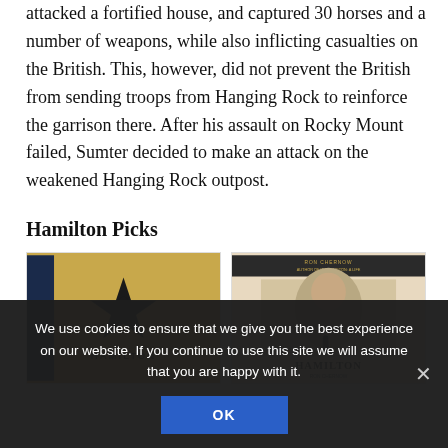attacked a fortified house, and captured 30 horses and a number of weapons, while also inflicting casualties on the British. This, however, did not prevent the British from sending troops from Hanging Rock to reinforce the garrison there. After his assault on Rocky Mount failed, Sumter decided to make an attack on the weakened Hanging Rock outpost.
Hamilton Picks
[Figure (photo): Book cover of Hamilton musical - gold background with black star silhouette of a figure]
[Figure (photo): Book cover of Ron Chernow's Hamilton biography - portrait of Alexander Hamilton with small figure below]
We use cookies to ensure that we give you the best experience on our website. If you continue to use this site we will assume that you are happy with it.